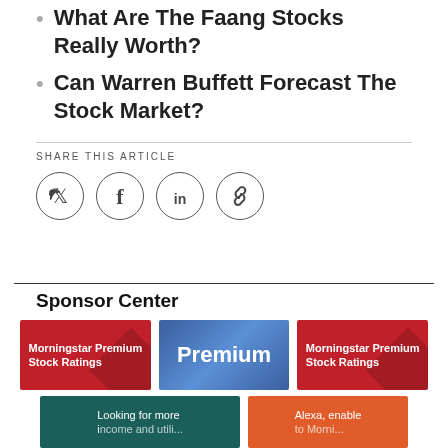What Are The Faang Stocks Really Worth?
Can Warren Buffett Forecast The Stock Market?
SHARE THIS ARTICLE
[Figure (other): Social share icons: Twitter, Facebook, LinkedIn, Link]
Sponsor Center
[Figure (infographic): Three sponsor ad cards: two red 'Morningstar Premium Stock Ratings' cards and one blue 'Premium' card]
[Figure (infographic): Two sponsor ad cards: teal 'Looking for more...' card and orange 'Alexa, enable...' card]